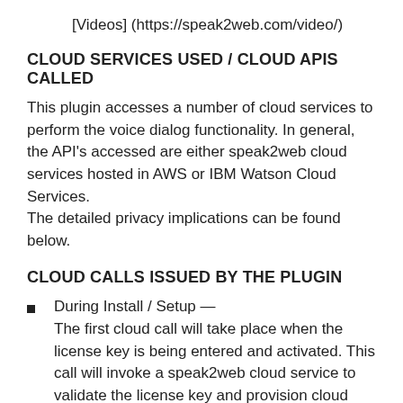[Videos] (https://speak2web.com/video/)
CLOUD SERVICES USED / CLOUD APIS CALLED
This plugin accesses a number of cloud services to perform the voice dialog functionality. In general, the API's accessed are either speak2web cloud services hosted in AWS or IBM Watson Cloud Services.
The detailed privacy implications can be found below.
CLOUD CALLS ISSUED BY THE PLUGIN
During Install / Setup — The first cloud call will take place when the license key is being entered and activated. This call will invoke a speak2web cloud service to validate the license key and provision cloud resources for the AI